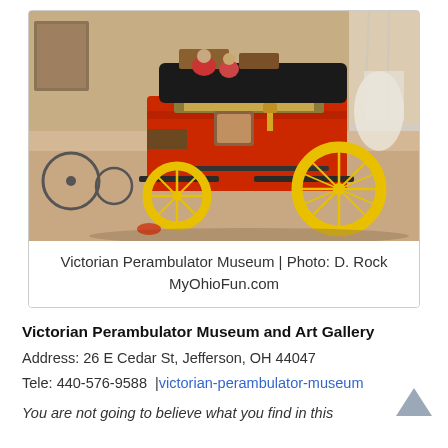[Figure (photo): Indoor museum photograph showing a large red and yellow antique stagecoach/carriage on display. The coach has bright yellow spoked wheels and a black roof. Other antique items and displays are visible in the background.]
Victorian Perambulator Museum | Photo: D. Rock
MyOhioFun.com
Victorian Perambulator Museum and Art Gallery
Address: 26 E Cedar St, Jefferson, OH 44047
Tele: 440-576-9588  | victorian-perambulator-museum
You are not going to believe what you find in this